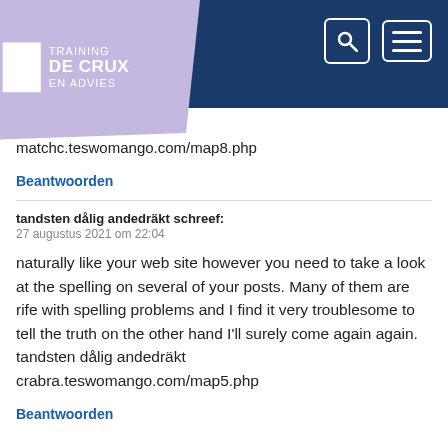[Figure (logo): Training De Crux En Advies logo on purple/lilac background with white square icon, set in a dark blue header bar with search and hamburger menu icons]
t mannerström matchc.teswomango.com/map8.php
Beantwoorden
tandsten dålig andedräkt schreef:
27 augustus 2021 om 22:04
naturally like your web site however you need to take a look at the spelling on several of your posts. Many of them are rife with spelling problems and I find it very troublesome to tell the truth on the other hand I'll surely come again again. tandsten dålig andedräkt crabra.teswomango.com/map5.php
Beantwoorden